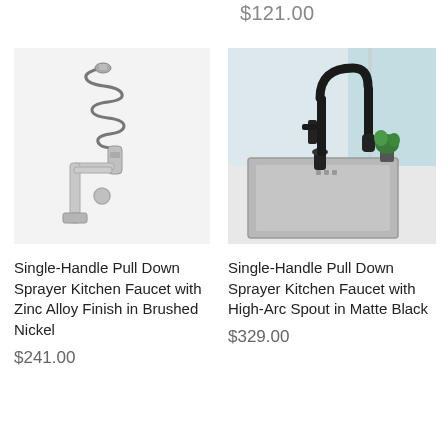$121.00
[Figure (photo): Single-handle pull down sprayer kitchen faucet with coiled spring neck and brushed nickel finish on white background]
Single-Handle Pull Down Sprayer Kitchen Faucet with Zinc Alloy Finish in Brushed Nickel
$241.00
[Figure (photo): Single-handle pull down sprayer kitchen faucet with high-arc square spout in matte black, installed over a stainless steel kitchen sink near a window]
Single-Handle Pull Down Sprayer Kitchen Faucet with High-Arc Spout in Matte Black
$329.00